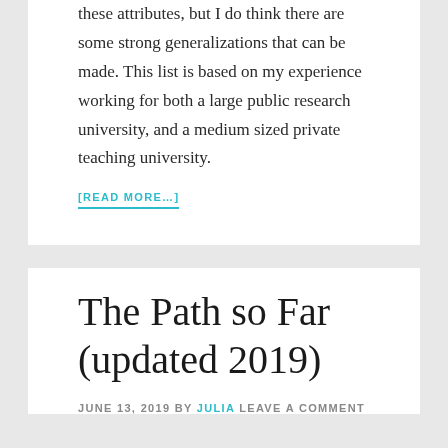these attributes, but I do think there are some strong generalizations that can be made. This list is based on my experience working for both a large public research university, and a medium sized private teaching university.
[READ MORE…]
The Path so Far (updated 2019)
JUNE 13, 2019 BY JULIA LEAVE A COMMENT